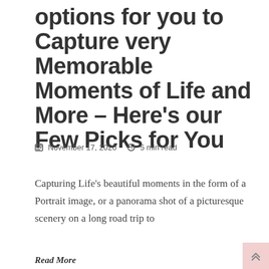options for you to Capture very Memorable Moments of Life and More – Here's our Few Picks for You
November 17, 2020   5 min read
Capturing Life's beautiful moments in the form of a Portrait image, or a panorama shot of a picturesque scenery on a long road trip to
Read More